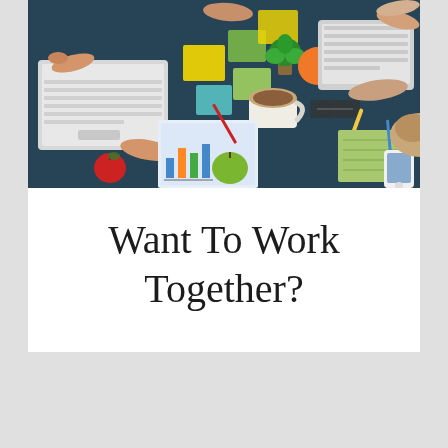[Figure (photo): Overhead/aerial view of people working together at a desk with laptops, notebooks, sticky notes, coffee, fruit, and office supplies on a dark wooden table surface]
Want To Work Together?
Love Podcasts? Catch Every Episode